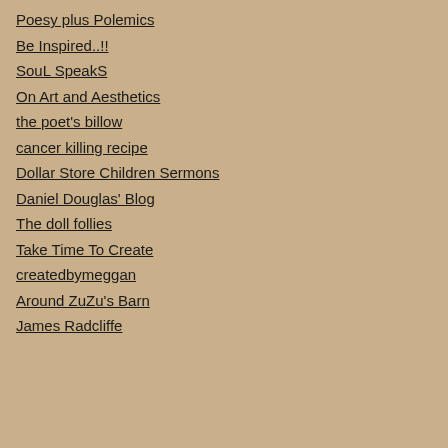Poesy plus Polemics
Be Inspired..!!
SouL SpeakS
On Art and Aesthetics
the poet's billow
cancer killing recipe
Dollar Store Children Sermons
Daniel Douglas' Blog
The doll follies
Take Time To Create
createdbymeggan
Around ZuZu's Barn
James Radcliffe